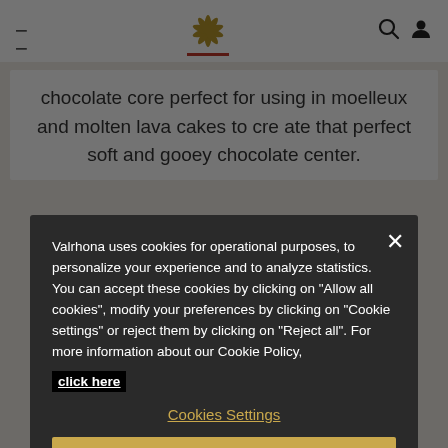Valrhona navigation bar with hamburger menu, logo, search and account icons
chocolate core perfect for using in moelleux and molten lava cakes to cre ate that perfect soft and gooey chocolate center.
Valrhona uses cookies for operational purposes, to personalize your experience and to analyze statistics. You can accept these cookies by clicking on "Allow all cookies", modify your preferences by clicking on "Cookie settings" or reject them by clicking on "Reject all". For more information about our Cookie Policy, click here
Cookies Settings
Reject All
Allow all cookies